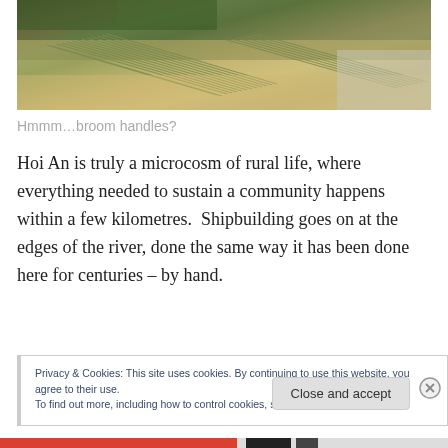[Figure (photo): Overhead view of bamboo poles/sticks laid out on sandy ground in organized rows, with some greenery and structures visible at the top.]
Hmmm…broom handles?
Hoi An is truly a microcosm of rural life, where everything needed to sustain a community happens within a few kilometres.  Shipbuilding goes on at the edges of the river, done the same way it has been done here for centuries – by hand.
Privacy & Cookies: This site uses cookies. By continuing to use this website, you agree to their use.
To find out more, including how to control cookies, see here: Cookie Policy
Close and accept